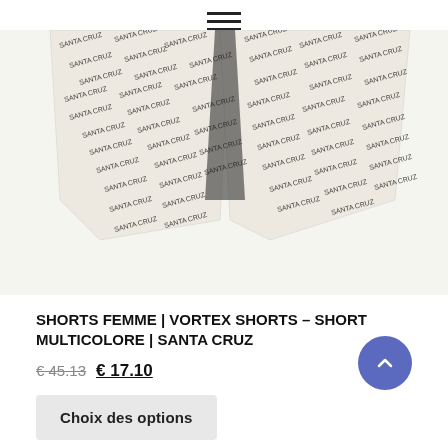[Figure (photo): Product photo of Santa Cruz Vortex Shorts – multicolore shorts with repeating SANTA CRUZ text pattern all over the fabric, displayed flat on a white background.]
SHORTS FEMME | VORTEX SHORTS – SHORT MULTICOLORE | SANTA CRUZ
€ 45.13  € 17.10
Choix des options